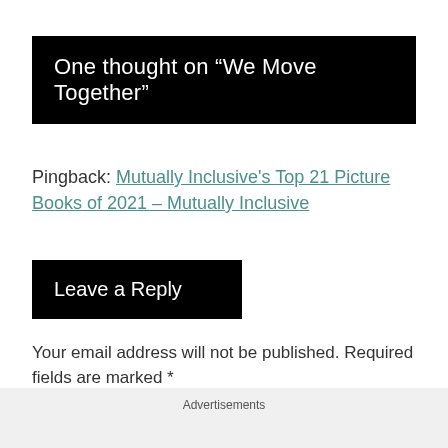One thought on “We Move Together”
Pingback: Mutually Inclusive's Top 21 Picture Books of 2021 – Mutually Inclusive
Leave a Reply
Your email address will not be published. Required fields are marked *
Advertisements